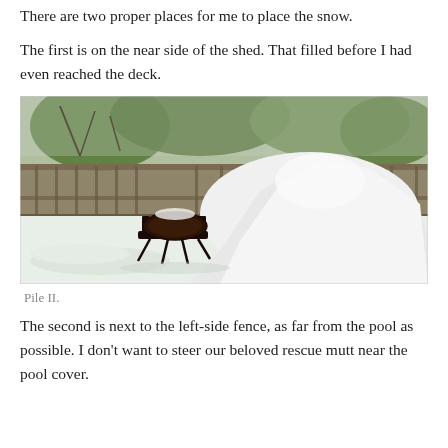There are two proper places for me to place the snow.
The first is on the near side of the shed. That filled before I had even reached the deck.
[Figure (photo): A large pile of snow in a backyard next to a wooden fence, with trees in the background and a fire pit in the foreground.]
Pile II.
The second is next to the left-side fence, as far from the pool as possible. I don’t want to steer our beloved rescue mutt near the pool cover.